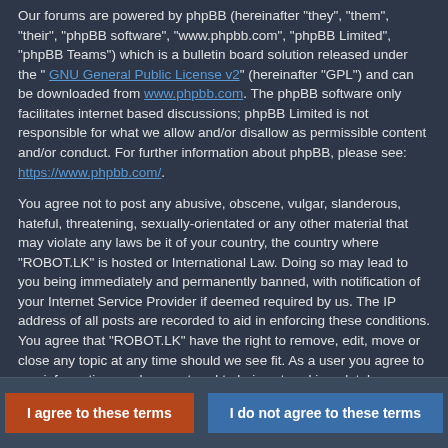Our forums are powered by phpBB (hereinafter "they", "them", "their", "phpBB software", "www.phpbb.com", "phpBB Limited", "phpBB Teams") which is a bulletin board solution released under the " GNU General Public License v2" (hereinafter "GPL") and can be downloaded from www.phpbb.com. The phpBB software only facilitates internet based discussions; phpBB Limited is not responsible for what we allow and/or disallow as permissible content and/or conduct. For further information about phpBB, please see: https://www.phpbb.com/.
You agree not to post any abusive, obscene, vulgar, slanderous, hateful, threatening, sexually-orientated or any other material that may violate any laws be it of your country, the country where "ROBOT.LK" is hosted or International Law. Doing so may lead to you being immediately and permanently banned, with notification of your Internet Service Provider if deemed required by us. The IP address of all posts are recorded to aid in enforcing these conditions. You agree that "ROBOT.LK" have the right to remove, edit, move or close any topic at any time should we see fit. As a user you agree to any information you have entered to being stored in a database. While this information will not be disclosed to any third party without your consent, neither "ROBOT.LK" nor phpBB shall be held responsible for any hacking attempt that may lead to the data being compromised.
I agree to these terms | I do not agree to these terms